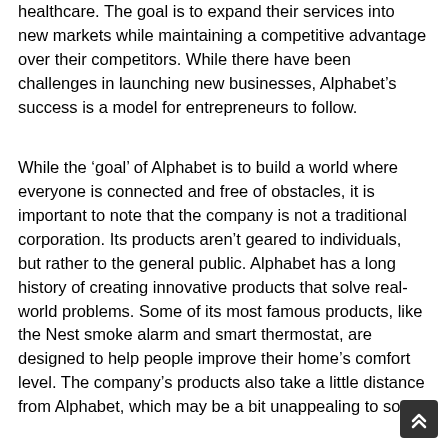healthcare. The goal is to expand their services into new markets while maintaining a competitive advantage over their competitors. While there have been challenges in launching new businesses, Alphabet's success is a model for entrepreneurs to follow.
While the 'goal' of Alphabet is to build a world where everyone is connected and free of obstacles, it is important to note that the company is not a traditional corporation. Its products aren't geared to individuals, but rather to the general public. Alphabet has a long history of creating innovative products that solve real-world problems. Some of its most famous products, like the Nest smoke alarm and smart thermostat, are designed to help people improve their home's comfort level. The company's products also take a little distance from Alphabet, which may be a bit unappealing to some.